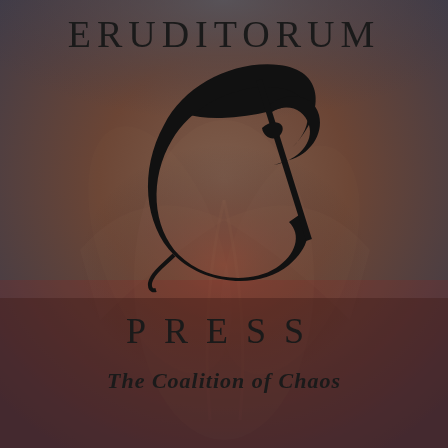[Figure (logo): Eruditorum Press logo cover page with decorative background showing abstract organic shapes in dark reddish-brown tones. Features the EP monogram logo in black calligraphic style.]
ERUDITORUM
PRESS
The Coalition of Chaos